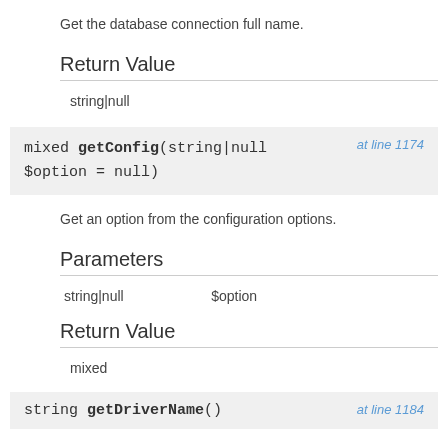Get the database connection full name.
Return Value
string|null
mixed getConfig(string|null $option = null)  at line 1174
Get an option from the configuration options.
Parameters
| string|null | $option |
Return Value
mixed
string getDriverName()  at line 1184